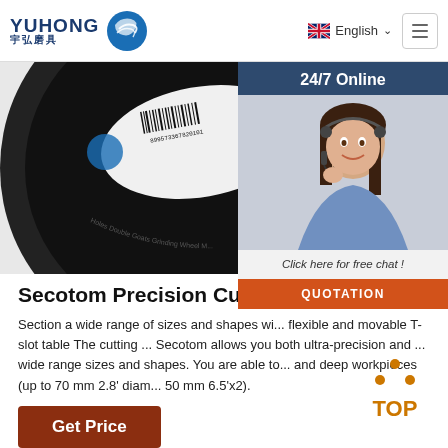[Figure (logo): YUHONG 宇弘磨具 logo with blue wave circle icon]
English
[Figure (photo): Circular grinding wheel with barcode label showing 'Holes Double Goats Grinding Wheel M...']
[Figure (photo): Customer service agent with headset, 24/7 Online overlay panel with 'Click here for free chat!' and QUOTATION button]
Secotom Precision Cutting Machi...
Section a wide range of sizes and shapes wi... flexible and movable T-slot table The cutting ... Secotom allows you both ultra-precision and ... wide range sizes and shapes. You are able to... and deep workpieces (up to 70 mm 2.8' diam... 50 mm 6.5'x2).
Get Price
[Figure (illustration): Orange TOP button with dot triangle above the letters]